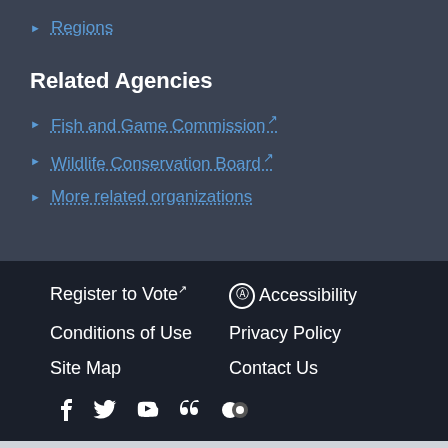▶ Regions
Related Agencies
▶ Fish and Game Commission [external link]
▶ Wildlife Conservation Board [external link]
▶ More related organizations
Register to Vote [external link]  Accessibility  Conditions of Use  Privacy Policy  Site Map  Contact Us  [social icons: Facebook, Twitter, YouTube, GovDelivery, Flickr]
© 2022 State of California